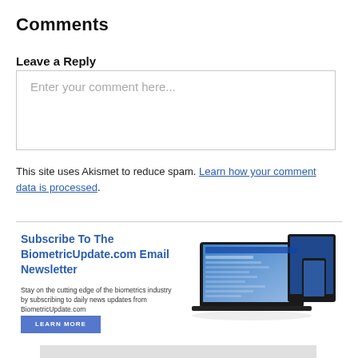Comments
Leave a Reply
Enter your comment here...
This site uses Akismet to reduce spam. Learn how your comment data is processed.
[Figure (infographic): Advertisement for BiometricUpdate.com newsletter showing laptop, tablet, and phone with website displayed]
[Figure (other): Gray placeholder box at bottom of page]